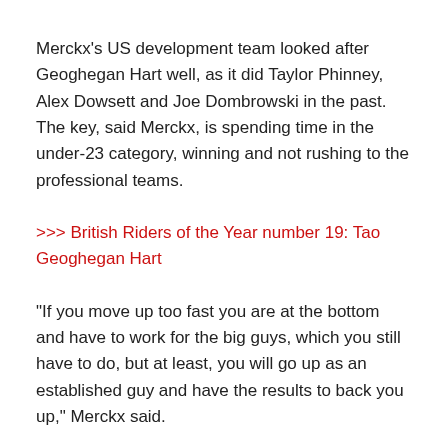Merckx's US development team looked after Geoghegan Hart well, as it did Taylor Phinney, Alex Dowsett and Joe Dombrowski in the past. The key, said Merckx, is spending time in the under-23 category, winning and not rushing to the professional teams.
>>> British Riders of the Year number 19: Tao Geoghegan Hart
"If you move up too fast you are at the bottom and have to work for the big guys, which you still have to do, but at least, you will go up as an established guy and have the results to back you up," Merckx said.
"I think that more and more pro teams are trying to jump certain development stages for the riders and take them